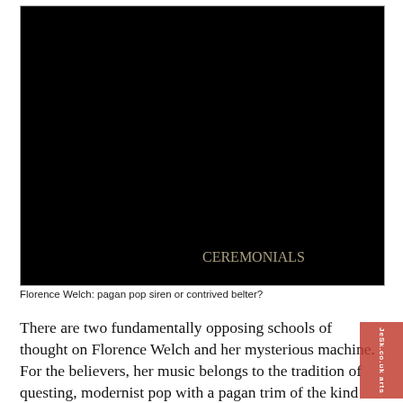[Figure (photo): Album cover of 'Ceremonials' by Florence and the Machine. Shows a woman with red hair in a black sequined dress, posed dramatically against a dark background with a mirrored/double exposure effect. The word CEREMONIALS appears in large spaced capital letters at the bottom of the image.]
Florence Welch: pagan pop siren or contrived belter?
There are two fundamentally opposing schools of thought on Florence Welch and her mysterious machine. For the believers, her music belongs to the tradition of questing, modernist pop with a pagan trim of the kind Kate Bush made before she started writing 14-minute songs about having sex